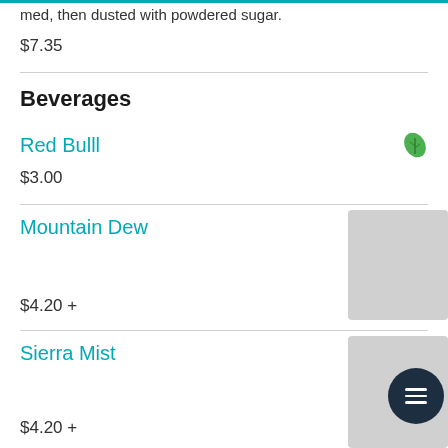med, then dusted with powdered sugar.
$7.35
Beverages
Red Bulll
$3.00
Mountain Dew
$4.20 +
Sierra Mist
$4.20 +